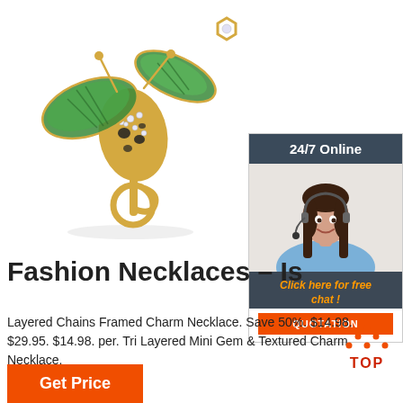[Figure (photo): Gold bee/insect brooch pin with green enamel wings, rhinestones, and black spots, on white background]
[Figure (photo): 24/7 Online customer service chat widget showing a smiling female agent with headset, with 'Click here for free chat!' text and orange QUOTATION button]
Fashion Necklaces – Is
Layered Chains Framed Charm Necklace. Save 50%. $14.98. $29.95. $14.98. per. Tri Layered Mini Gem & Textured Charm Necklace.
[Figure (logo): TOP button with orange dot arrows icon and red/orange TOP text]
Get Price